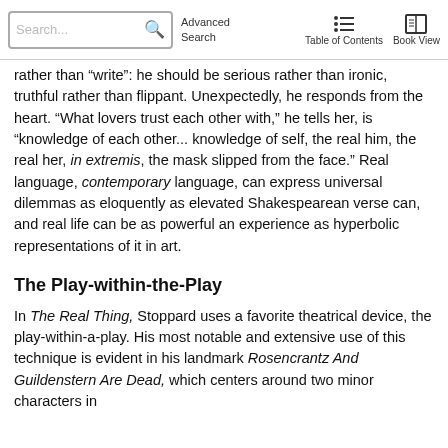Search... Advanced Search Table of Contents Book View
rather than “write”: he should be serious rather than ironic, truthful rather than flippant. Unexpectedly, he responds from the heart. “What lovers trust each other with,” he tells her, is “knowledge of each other... knowledge of self, the real him, the real her, in extremis, the mask slipped from the face.” Real language, contemporary language, can express universal dilemmas as eloquently as elevated Shakespearean verse can, and real life can be as powerful an experience as hyperbolic representations of it in art.
The Play-within-the-Play
In The Real Thing, Stoppard uses a favorite theatrical device, the play-within-a-play. His most notable and extensive use of this technique is evident in his landmark Rosencrantz And Guildenstern Are Dead, which centers around two minor characters in